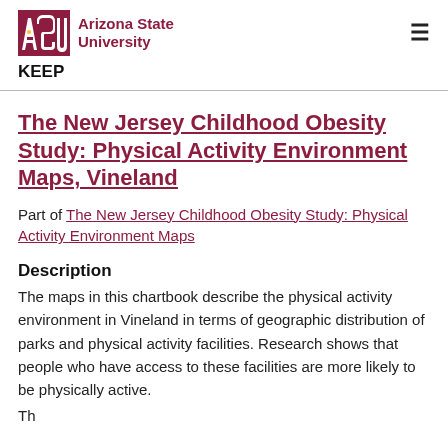Arizona State University | KEEP
The New Jersey Childhood Obesity Study: Physical Activity Environment Maps, Vineland
Part of The New Jersey Childhood Obesity Study: Physical Activity Environment Maps
Description
The maps in this chartbook describe the physical activity environment in Vineland in terms of geographic distribution of parks and physical activity facilities. Research shows that people who have access to these facilities are more likely to be physically active.